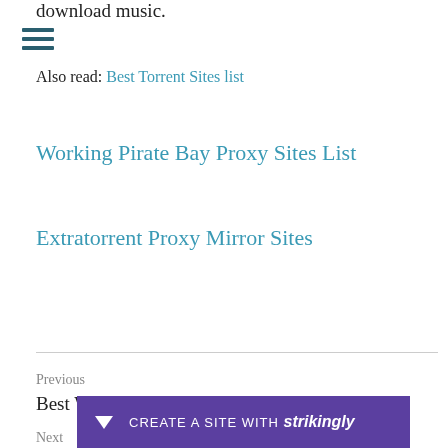download music.
Also read: Best Torrent Sites list
Working Pirate Bay Proxy Sites List
Extratorrent Proxy Mirror Sites
Previous
Best Working Pirate Bay Proxy Sites List 2021
Next
123
CREATE A SITE WITH strikingly